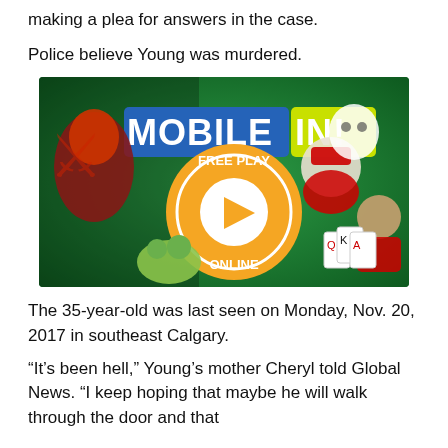making a plea for answers in the case.
Police believe Young was murdered.
[Figure (illustration): Mobile IN! advertisement banner with cartoon game characters, 'FREE PLAY ONLINE' orange circle button with play triangle, and colorful animated characters including a warrior, child, Santa, frog, and other game figures.]
The 35-year-old was last seen on Monday, Nov. 20, 2017 in southeast Calgary.
“It’s been hell,” Young’s mother Cheryl told Global News. “I keep hoping that maybe he will walk through the door and that